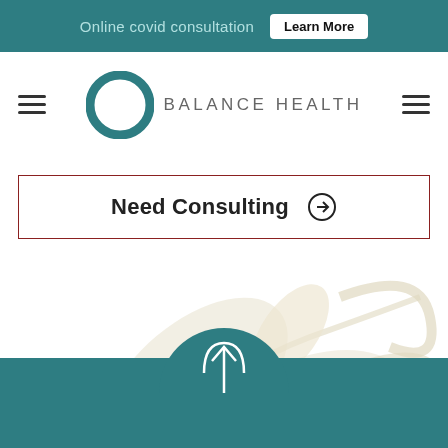Online covid consultation  Learn More
[Figure (logo): Balance Health logo with teal circular ring and brand name BALANCE HEALTH]
Need Consulting →